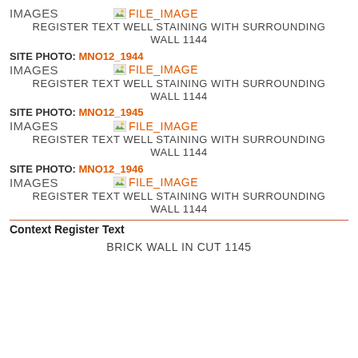IMAGES  [FILE_IMAGE]
REGISTER TEXT WELL STAINING WITH SURROUNDING WALL 1144
SITE PHOTO: MNO12_1944
IMAGES  [FILE_IMAGE]
REGISTER TEXT WELL STAINING WITH SURROUNDING WALL 1144
SITE PHOTO: MNO12_1945
IMAGES  [FILE_IMAGE]
REGISTER TEXT WELL STAINING WITH SURROUNDING WALL 1144
SITE PHOTO: MNO12_1946
IMAGES  [FILE_IMAGE]
REGISTER TEXT WELL STAINING WITH SURROUNDING WALL 1144
Context Register Text
BRICK WALL IN CUT 1145